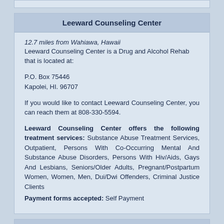Leeward Counseling Center
12.7 miles from Wahiawa, Hawaii
Leeward Counseling Center is a Drug and Alcohol Rehab that is located at:
P.O. Box 75446
Kapolei, HI. 96707
If you would like to contact Leeward Counseling Center, you can reach them at 808-330-5594.
Leeward Counseling Center offers the following treatment services: Substance Abuse Treatment Services, Outpatient, Persons With Co-Occurring Mental And Substance Abuse Disorders, Persons With Hiv/Aids, Gays And Lesbians, Seniors/Older Adults, Pregnant/Postpartum Women, Women, Men, Dui/Dwi Offenders, Criminal Justice Clients
Payment forms accepted: Self Payment
Waianae Coast Comp Health Center
12.9 miles from Wahiawa, Hawaii
Waianae Coast Comp Health Center is a Drug and Alcohol Rehab